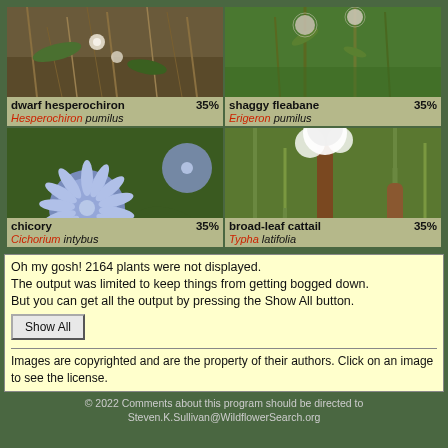[Figure (photo): Grid of four plant photos: dwarf hesperochiron, shaggy fleabane, chicory (blue flowers), broad-leaf cattail]
Oh my gosh! 2164 plants were not displayed. The output was limited to keep things from getting bogged down. But you can get all the output by pressing the Show All button.
Show All
Images are copyrighted and are the property of their authors. Click on an image to see the license.
© 2022 Comments about this program should be directed to Steven.K.Sullivan@WildflowerSearch.org